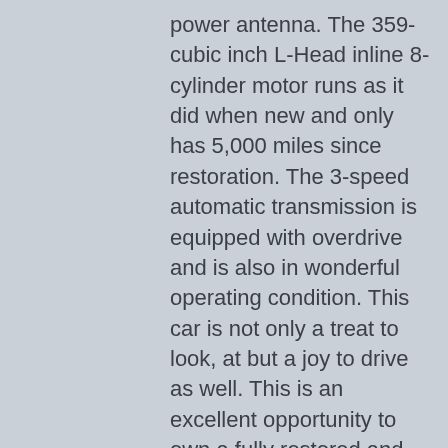power antenna. The 359-cubic inch L-Head inline 8-cylinder motor runs as it did when new and only has 5,000 miles since restoration. The 3-speed automatic transmission is equipped with overdrive and is also in wonderful operating condition. This car is not only a treat to look, at but a joy to drive as well. This is an excellent opportunity to own a fully restored and rare Packard for a fraction of what it cost to restore it!
Please call or email with inquires: (916) 761-0081
Price: $58,000
Miles: 5,804
Engine: 359 C.I. L-Head (Flathead) Inline 8-Cylinder Gasoline